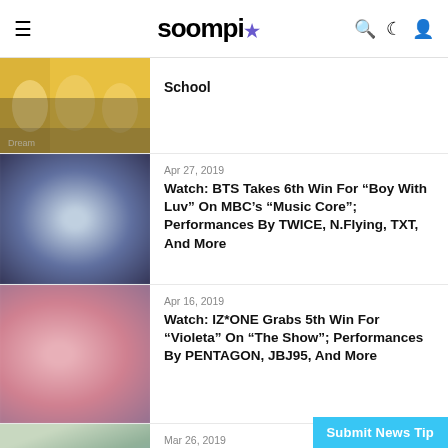soompi
[Figure (photo): Partial K-pop group photo at top, partially cropped]
School
[Figure (photo): Blurred dark blue/purple photo thumbnail for BTS article]
Apr 27, 2019
Watch: BTS Takes 6th Win For “Boy With Luv” On MBC’s “Music Core”; Performances By TWICE, N.Flying, TXT, And More
[Figure (photo): Blurred pink/rose photo thumbnail for IZ*ONE article]
Apr 16, 2019
Watch: IZ*ONE Grabs 5th Win For “Violeta” On “The Show”; Performances By PENTAGON, JBJ95, And More
[Figure (photo): Blurred green/teal photo thumbnail for MOMOLA article]
Mar 26, 2019
Watch: MOMOLA